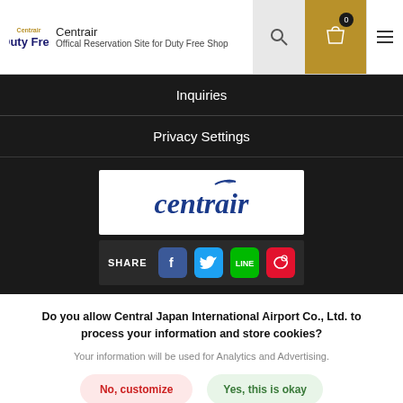Centrair Duty Free — Official Reservation Site for Duty Free Shop
Inquiries
Privacy Settings
[Figure (logo): Centrair logo in dark blue italic script on white background]
SHARE [Facebook] [Twitter] [LINE] [Weibo]
Do you allow Central Japan International Airport Co., Ltd. to process your information and store cookies?
Your information will be used for Analytics and Advertising.
No, customize | Yes, this is okay